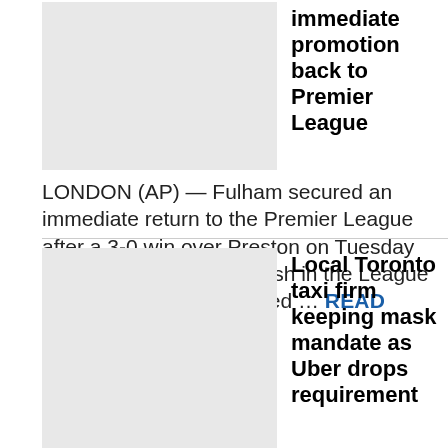[Figure (photo): Thumbnail image placeholder for Fulham Premier League article]
immediate promotion back to Premier League
LONDON (AP) — Fulham secured an immediate return to the Premier League after a 3-0 win over Preston on Tuesday guaranteed a top-two finish in the League Championship. © Provided ... READ MORE »
[Figure (photo): Thumbnail image placeholder for Local Toronto taxi firm article]
Local Toronto taxi firm keeping mask mandate as Uber drops requirement
© Globe and Mail A ride sharing mini van (R) with an Uber sticker in the front window, drives past a parked Beck taxi, on Front St. East in downtown ... READ MORE »